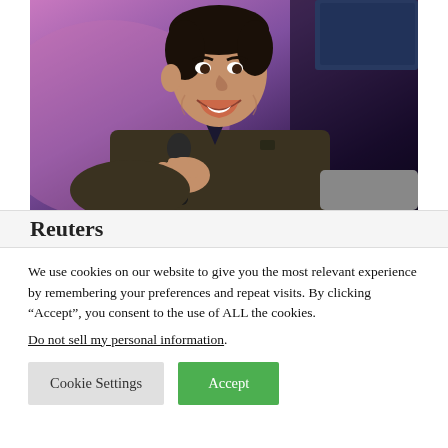[Figure (photo): A smiling man (Elon Musk) holding a microphone, seated, wearing a dark jacket, at what appears to be a conference or interview event. The background is purple/pink with stage lighting.]
Reuters
We use cookies on our website to give you the most relevant experience by remembering your preferences and repeat visits. By clicking “Accept”, you consent to the use of ALL the cookies.
Do not sell my personal information.
Cookie Settings
Accept